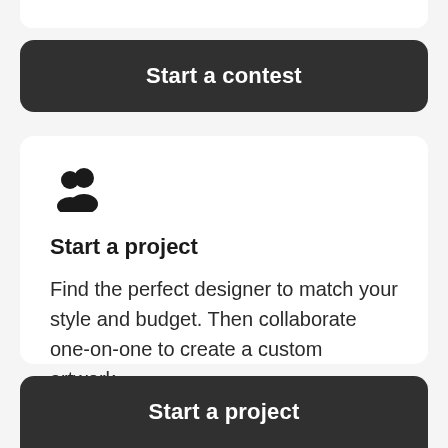[Figure (other): Partial white card at top of page, cropped]
Start a contest
[Figure (illustration): Two person silhouette icon representing a group/team]
Start a project
Find the perfect designer to match your style and budget. Then collaborate one-on-one to create a custom artwork.
Start a project